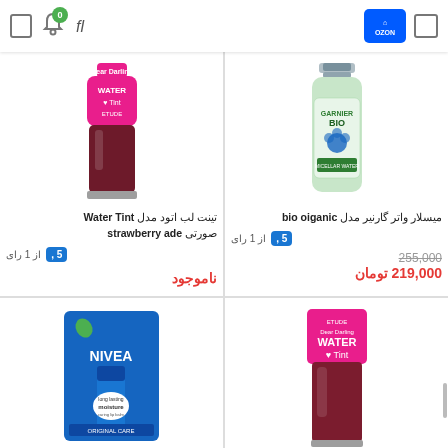[Figure (screenshot): Mobile e-commerce app header with menu icon, notification bell with badge '0', search icon, Ozon logo, and cart icon]
[Figure (photo): Etude House Dear Darling Water Tint lip product in dark red/burgundy color]
[Figure (photo): Garnier BIO micellar water with cornflower in green bottle]
تینت لب اتود مدل Water Tint صورتی strawberry ade
میسلار واتر گارنیر مدل bio oiganic
5, از 1 رای
5, از 1 رای
ناموجود
255,000
219,000 تومان
[Figure (photo): Nivea Original Care lip balm product in blue packaging]
[Figure (photo): Etude House Dear Darling Water Tint product in red packaging]